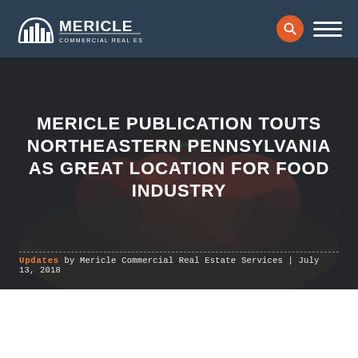Mericle Commercial Real Estate Services
MERICLE PUBLICATION TOUTS NORTHEASTERN PENNSYLVANIA AS GREAT LOCATION FOR FOOD INDUSTRY
Updates by Mericle Commercial Real Estate Services | July 13, 2018
A recent location...